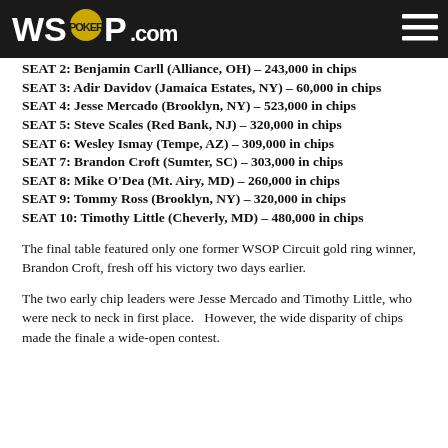WSOP.COM
SEAT 2:  Benjamin Carll (Alliance, OH) – 243,000 in chips
SEAT 3:  Adir Davidov (Jamaica Estates, NY) – 60,000 in chips
SEAT 4:  Jesse Mercado (Brooklyn, NY) – 523,000 in chips
SEAT 5:  Steve Scales (Red Bank, NJ) – 320,000 in chips
SEAT 6:  Wesley Ismay (Tempe, AZ) – 309,000 in chips
SEAT 7:  Brandon Croft (Sumter, SC) – 303,000 in chips
SEAT 8:  Mike O'Dea (Mt. Airy, MD) – 260,000 in chips
SEAT 9:  Tommy Ross (Brooklyn, NY) – 320,000 in chips
SEAT 10: Timothy Little (Cheverly, MD) – 480,000 in chips
The final table featured only one former WSOP Circuit gold ring winner, Brandon Croft, fresh off his victory two days earlier.
The two early chip leaders were Jesse Mercado and Timothy Little, who were neck to neck in first place.   However, the wide disparity of chips made the finale a wide-open contest.